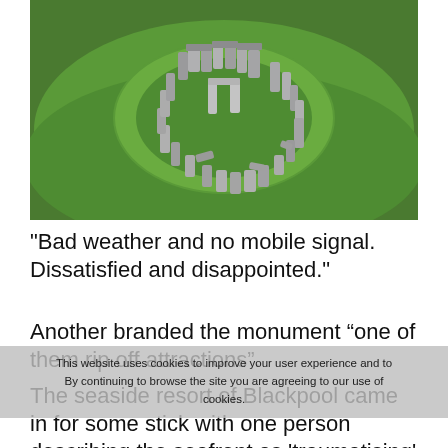[Figure (photo): Aerial view of Stonehenge stone circle on bright green grass, showing the ancient megalithic monument from above]
"Bad weather and no mobile signal. Dissatisfied and disappointed."
Another branded the monument “one of them rip off attractions”.
The seaside resort of Blackpool came in for some stick with one person describing the seafront as 'traumatising'
This website uses cookies to improve your user experience and to. By continuing to browse the site you are agreeing to our use of cookies.